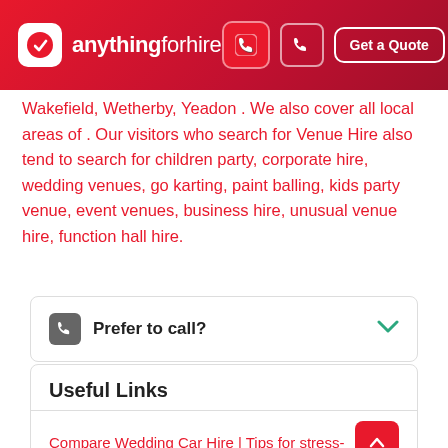anythingforhire — Get a Quote
Wakefield, Wetherby, Yeadon . We also cover all local areas of . Our visitors who search for Venue Hire also tend to search for children party, corporate hire, wedding venues, go karting, paint balling, kids party venue, event venues, business hire, unusual venue hire, function hall hire.
Prefer to call?
Useful Links
Compare Wedding Car Hire | Tips for stress-